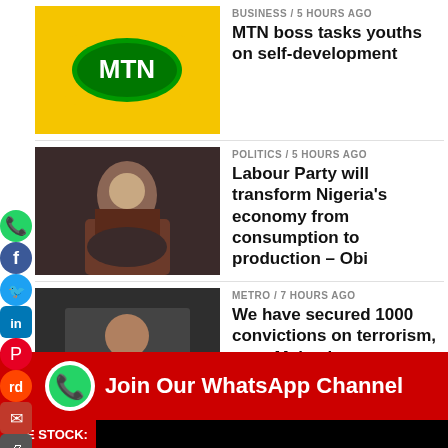[Figure (photo): MTN logo on yellow box]
BUSINESS / 5 hours ago
MTN boss tasks youths on self-development
[Figure (photo): Man speaking gesturing with finger]
POLITICS / 5 hours ago
Labour Party will transform Nigeria's economy from consumption to production – Obi
[Figure (photo): Man in suit at interview]
METRO / 7 hours ago
We have secured 1000 convictions on terrorism, says Malami
[Figure (photo): Stock exchange floor with people]
BUSINESS / 7 hours ago
Equity market posts losses, market capitalisation down by 0.12%
[Figure (infographic): Join Our WhatsApp Channel banner with WhatsApp icon]
NSE STOCK: